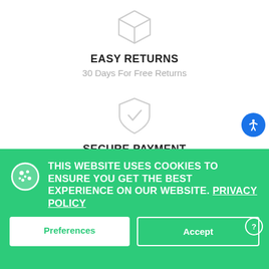[Figure (illustration): Gray 3D box/cube icon for Easy Returns]
EASY RETURNS
30 Days For Free Returns
[Figure (illustration): Gray shield with checkmark icon for Secure Payment]
SECURE PAYMENT
100% Secure Payment
THIS WEBSITE USES COOKIES TO ENSURE YOU GET THE BEST EXPERIENCE ON OUR WEBSITE. PRIVACY POLICY
Preferences
Accept